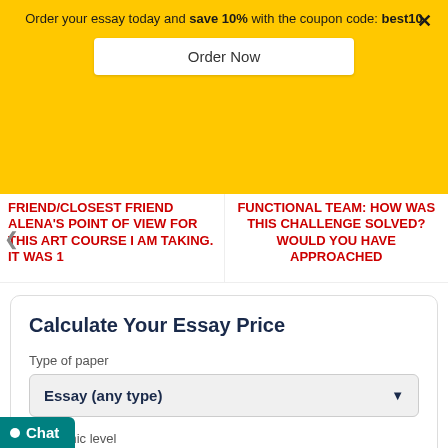Order your essay today and save 10% with the coupon code: best10
Order Now
×
FRIEND/CLOSEST FRIEND ALENA'S POINT OF VIEW FOR THIS ART COURSE I AM TAKING. IT WAS 1
FUNCTIONAL TEAM: HOW WAS THIS CHALLENGE SOLVED? WOULD YOU HAVE APPROACHED
Calculate Your Essay Price
Type of paper
Essay (any type)
Academic level
Undergrad. (yrs 1-2)
Deadline
Chat